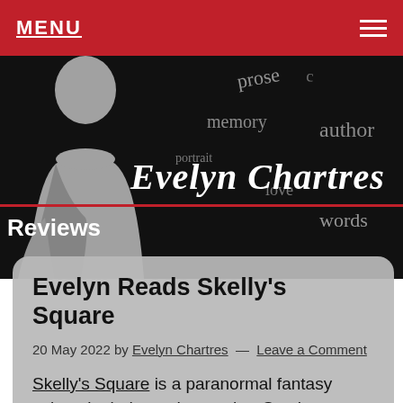MENU
[Figure (illustration): Hero banner with black background, woman silhouette on left, word cloud with words: prose, memory, author, portrait, love, words, and cursive script 'Evelyn Chartres' in white. Red horizontal line accent. 'Reviews' text label in white.]
Evelyn Reads Skelly’s Square
20 May 2022 by Evelyn Chartres — Leave a Comment
Skelly’s Square is a paranormal fantasy written by independent author Stephen Black.
While the story is primarily focused on a young